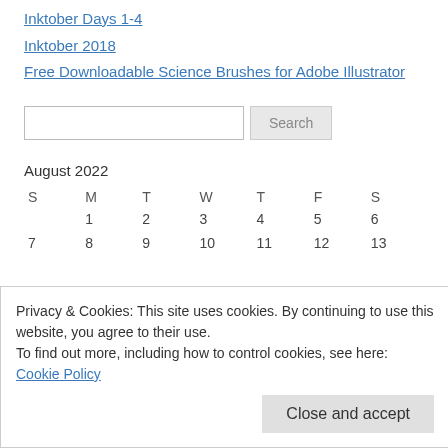Inktober Days 1-4
Inktober 2018
Free Downloadable Science Brushes for Adobe Illustrator
[Search input field]
| S | M | T | W | T | F | S |
| --- | --- | --- | --- | --- | --- | --- |
|  | 1 | 2 | 3 | 4 | 5 | 6 |
| 7 | 8 | 9 | 10 | 11 | 12 | 13 |
Privacy & Cookies: This site uses cookies. By continuing to use this website, you agree to their use.
To find out more, including how to control cookies, see here: Cookie Policy
Close and accept